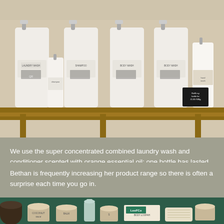[Figure (photo): Large white plastic bulk dispensing containers with pump tops lined up on a wooden shelf, containing laundry wash, shampoo, body wash products]
We use the super concentrated combined laundry wash and conditioner scented with orange essential oil;  one bottle has lasted months! Far cheaper than over-packaged chemical-ridden traditional household brands.
Bethan is frequently increasing her product range so there is often a surprise each time you go in.
[Figure (photo): Various jars and containers of natural products on a green surface, including body loofah and other eco-friendly personal care items]